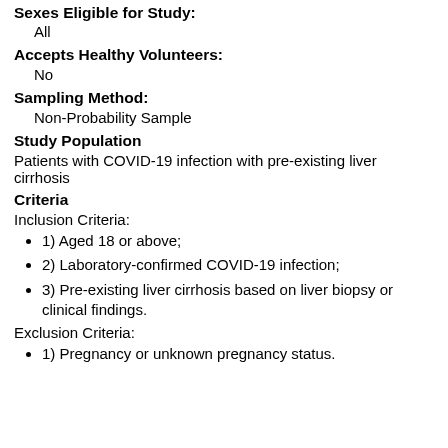Sexes Eligible for Study:
All
Accepts Healthy Volunteers:
No
Sampling Method:
Non-Probability Sample
Study Population
Patients with COVID-19 infection with pre-existing liver cirrhosis
Criteria
Inclusion Criteria:
1) Aged 18 or above;
2) Laboratory-confirmed COVID-19 infection;
3) Pre-existing liver cirrhosis based on liver biopsy or clinical findings.
Exclusion Criteria:
1) Pregnancy or unknown pregnancy status.